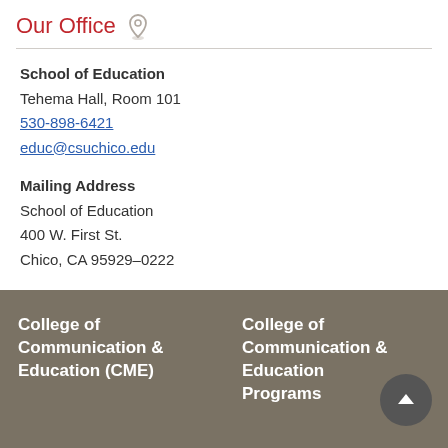Our Office
School of Education
Tehema Hall, Room 101
530-898-6421
educ@csuchico.edu
Mailing Address
School of Education
400 W. First St.
Chico, CA 95929–0222
College of Communication & Education (CME)
College of Communication & Education Programs